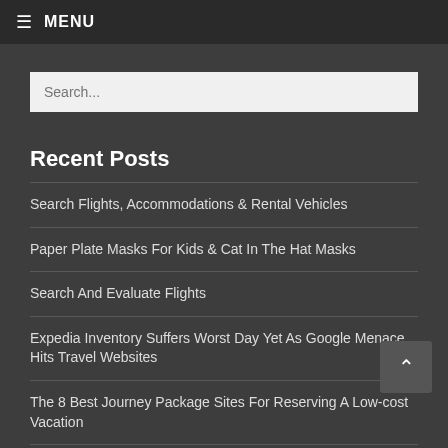≡ MENU
Search...
Recent Posts
Search Flights, Accommodations & Rental Vehicles
Paper Plate Masks For Kids & Cat In The Hat Masks
Search And Evaluate Flights
Expedia Inventory Suffers Worst Day Yet As Google Menace Hits Travel Websites
The 8 Best Journey Package Sites For Reserving A Low-cost Vacation
Archives